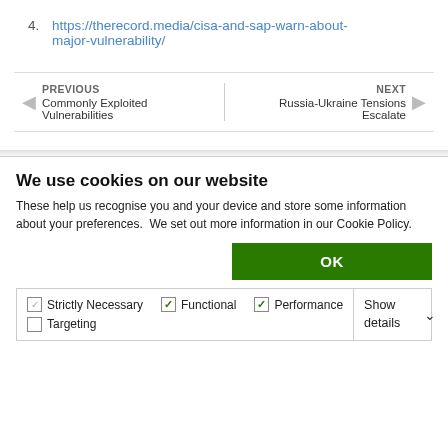4. https://therecord.media/cisa-and-sap-warn-about-major-vulnerability/
PREVIOUS
Commonly Exploited Vulnerabilities
NEXT
Russia-Ukraine Tensions Escalate
We use cookies on our website
These help us recognise you and your device and store some information about your preferences.  We set out more information in our Cookie Policy.
OK
Strictly Necessary  Functional  Performance  Targeting  Show details